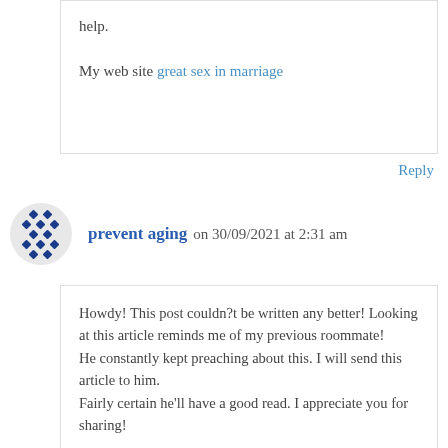help.
My web site great sex in marriage
Reply
prevent aging on 30/09/2021 at 2:31 am
Howdy! This post couldn?t be written any better! Looking at this article reminds me of my previous roommate!
He constantly kept preaching about this. I will send this article to him.
Fairly certain he'll have a good read. I appreciate you for sharing!

Look into my blog: prevent aging
Reply